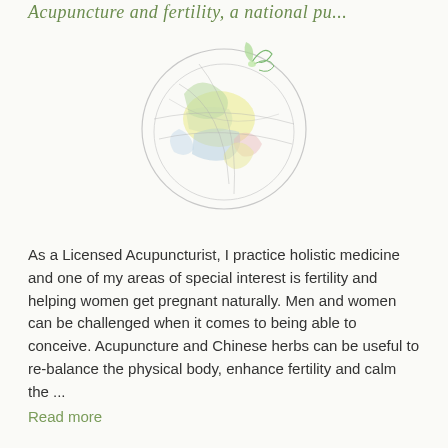Acupuncture and fertility, a national pu...
[Figure (illustration): A soft pastel colored illustration of a stylized globe or spherical form with organic, flowing shapes in light yellow, green, blue and pink tones, resembling an egg or embryo-like sphere with botanical or cellular elements.]
As a Licensed Acupuncturist, I practice holistic medicine and one of my areas of special interest is fertility and helping women get pregnant naturally. Men and women can be challenged when it comes to being able to conceive. Acupuncture and Chinese herbs can be useful to re-balance the physical body, enhance fertility and calm the ...
Read more